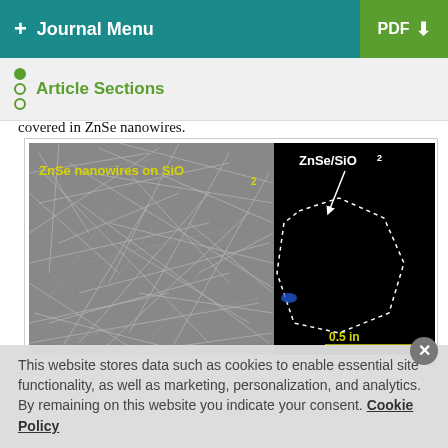+ Journal Menu  PDF
Article Sections
covered in ZnSe nanowires.
[Figure (photo): SEM image of ZnSe nanowires on SiO2 substrate (left, grayscale) with label 'ZnSe nanowires on SiO2' in yellow text. Right inset: black background with dotted polygon outline labeled 'ZnSe/SiO2' with arrow pointing to it, and scale bar '0.5 in' in yellow.]
This website stores data such as cookies to enable essential site functionality, as well as marketing, personalization, and analytics. By remaining on this website you indicate your consent. Cookie Policy